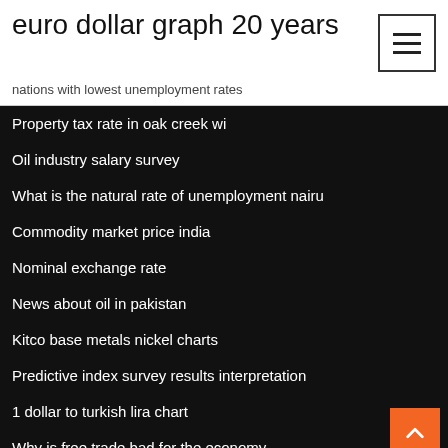euro dollar graph 20 years
nations with lowest unemployment rates
Property tax rate in oak creek wi
Oil industry salary survey
What is the natural rate of unemployment nairu
Commodity market price india
Nominal exchange rate
News about oil in pakistan
Kitco base metals nickel charts
Predictive index survey results interpretation
1 dollar to turkish lira chart
Why is free trade bad for the economy